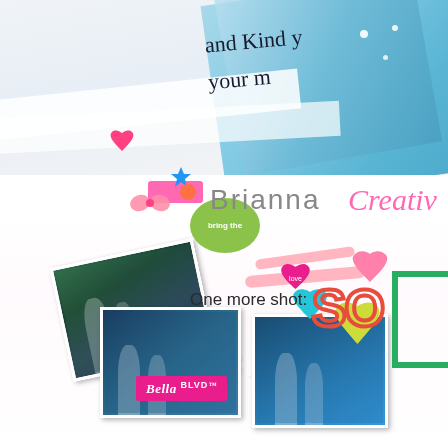[Figure (photo): Top portion of a scrapbook page showing blue glittery textured paper with handwritten cursive text reading 'and kind y...' and 'your m...' overlapping with white paper strips and diagonal layered papers]
[Figure (logo): Bella BLVD logo in white script on hot pink/magenta rectangular badge]
Brianna
Creativ
One more shot:
[Figure (photo): Bottom portion of a colorful scrapbook layout collage featuring photos of people (runners/athletes in blue shirts), decorated with stickers including green oval sticker with text 'bring the', pink banners, heart stickers in pink/magenta/teal/yellow, red outline letters 'SO', green bracket shape, pink ribbon strips, pink bow, blue star, and various colorful embellishments]